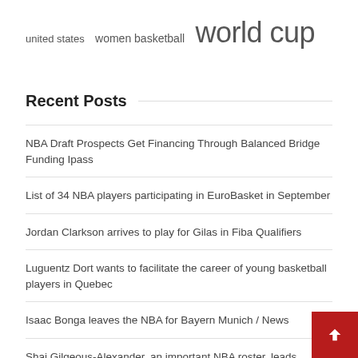united states  women basketball  world cup
Recent Posts
NBA Draft Prospects Get Financing Through Balanced Bridge Funding Ipass
List of 34 NBA players participating in EuroBasket in September
Jordan Clarkson arrives to play for Gilas in Fiba Qualifiers
Luguentz Dort wants to facilitate the career of young basketball players in Quebec
Isaac Bonga leaves the NBA for Bayern Munich / News
Shai Gilgeous-Alexander, an important NBA roster, leads Canada in the fourth window of FIBA Qualifiers